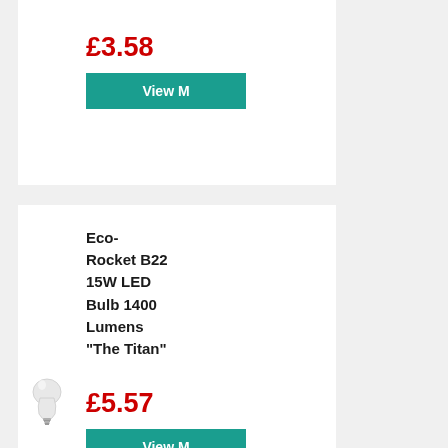£3.58
View M
Eco-Rocket B22 15W LED Bulb 1400 Lumens "The Titan"
£5.57
View M
OMNIPlus B15 4w OMNI-LED Clear Candle Bulb